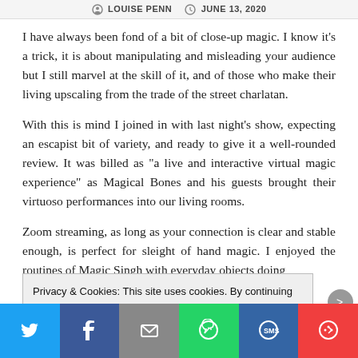LOUISE PENN  JUNE 13, 2020
I have always been fond of a bit of close-up magic. I know it's a trick, it is about manipulating and misleading your audience but I still marvel at the skill of it, and of those who make their living upscaling from the trade of the street charlatan.
With this is mind I joined in with last night's show, expecting an escapist bit of variety, and ready to give it a well-rounded review. It was billed as "a live and interactive virtual magic experience" as Magical Bones and his guests brought their virtuoso performances into our living rooms.
Zoom streaming, as long as your connection is clear and stable enough, is perfect for sleight of hand magic. I enjoyed the routines of Magic Singh with everyday objects doing
Privacy & Cookies: This site uses cookies. By continuing to use this website, you agree to their use.
To find out more, including how to control cookies, see here: Cookie Policy